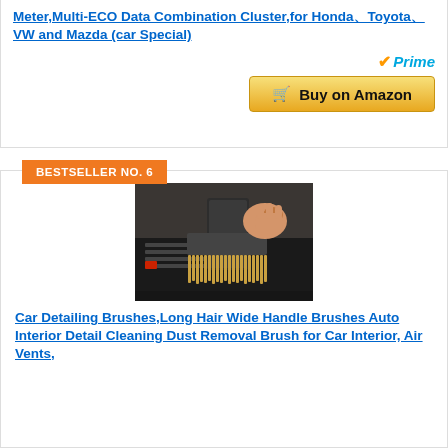Meter,Multi-ECO Data Combination Cluster,for Honda、Toyota、VW and Mazda (car Special)
[Figure (other): Buy on Amazon button with Prime logo]
BESTSELLER NO. 6
[Figure (photo): Hand holding a wide-bristle car detailing brush cleaning car interior air vents on a dark dashboard]
Car Detailing Brushes,Long Hair Wide Handle Brushes Auto Interior Detail Cleaning Dust Removal Brush for Car Interior, Air Vents,